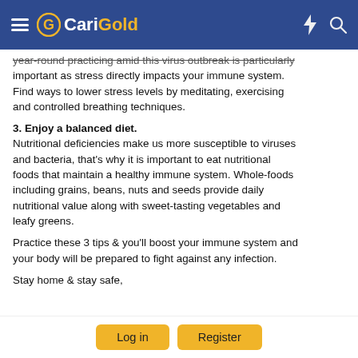CariGold
year-round practicing amid this virus outbreak is particularly important as stress directly impacts your immune system. Find ways to lower stress levels by meditating, exercising and controlled breathing techniques.
3. Enjoy a balanced diet. Nutritional deficiencies make us more susceptible to viruses and bacteria, that's why it is important to eat nutritional foods that maintain a healthy immune system. Whole-foods including grains, beans, nuts and seeds provide daily nutritional value along with sweet-tasting vegetables and leafy greens.
Practice these 3 tips & you'll boost your immune system and your body will be prepared to fight against any infection.
Stay home & stay safe,